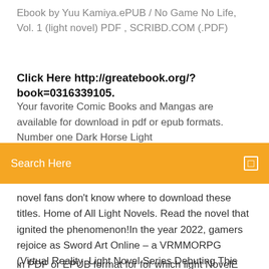Ebook by Yuu Kamiya.ePUB / No Game No Life, Vol. 1 (light novel) PDF , SCRIBD.COM (.PDF)
Click Here http://greatebook.org/?book=0316339105.
Your favorite Comic Books and Mangas are available for download in pdf or epub formats. Number one Dark Horse Light
[Figure (other): Orange search bar UI element with 'Search Here' text and a small square icon on the right]
novel fans don't know where to download these titles. Home of All Light Novels. Read the novel that ignited the phenomenon!In the year 2022, gamers rejoice as Sword Art Online – a VRMMORPG (Virtual Reality Light Novel Series Debuting This Month. Kindle Unlimited. Blogroll. 7 Dec 2017 FREE ePUB and PDF LN/WN Download. i still didn't update the single link Light Novel since NT 14 's illustration are still on japanese -_-.btw tell everyone here if they need the pdf (for offline usage to use
in PDF or EPUB format for for which light NovelE